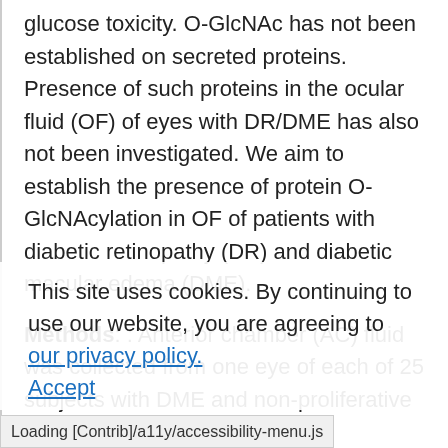glucose toxicity. O-GlcNAc has not been established on secreted proteins. Presence of such proteins in the ocular fluid (OF) of eyes with DR/DME has also not been investigated. We aim to establish the presence of protein O-GlcNAcylation in OF of patients with diabetic retinopathy (DR) and diabetic macular edema (DME).
Methods: : Anterior chamber (AC) fluid was collected from one eye of each of 25 subjects with DME and non-proliferative or inactive
This site uses cookies. By continuing to use our website, you are agreeing to our privacy policy. Accept
proliferative DR who are participating in a clinical trial for DME. The eyes have not been treated with anti-VEGF/steroid therapies for
Loading [Contrib]/a11y/accessibility-menu.js